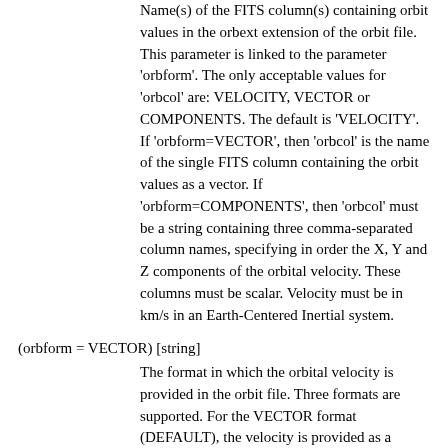Name(s) of the FITS column(s) containing orbit values in the orbext extension of the orbit file. This parameter is linked to the parameter 'orbform'. The only acceptable values for 'orbcol' are: VELOCITY, VECTOR or COMPONENTS. The default is 'VELOCITY'. If 'orbform=VECTOR', then 'orbcol' is the name of the single FITS column containing the orbit values as a vector. If 'orbform=COMPONENTS', then 'orbcol' must be a string containing three comma-separated column names, specifying in order the X, Y and Z components of the orbital velocity. These columns must be scalar. Velocity must be in km/s in an Earth-Centered Inertial system.
(orbform = VECTOR) [string]
The format in which the orbital velocity is provided in the orbit file. Three formats are supported. For the VECTOR format (DEFAULT), the velocity is provided as a vector column with three elements (X, Y and Z in Earth-Centered Inertial (ECI) system). For the COMPONENT format, the velocity is provided in three separate columns. For the KEPLERIAN format, the velocity is derived from the six provided Keplerian element columns.
(randomize = TELDEF) [string]